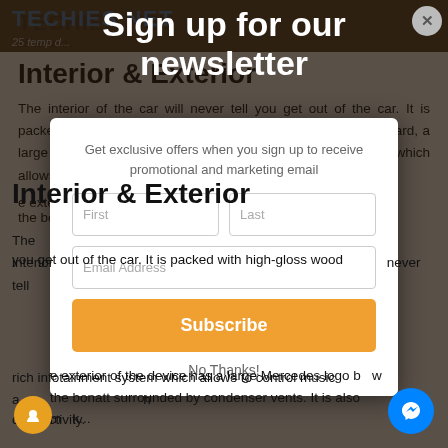TECHIES NET
25 temp d...
Interior & Exterior
The interior of the car will never tell you get out of the car. It is packed with high-gloss wood t...ve...t the center of the dashboard, a large touch screen looks like a...d rich infotainment system which allows to control music a...h connectivity.
[Figure (screenshot): Newsletter signup modal overlay on a car review article. Modal contains title 'Sign up for our newsletter', subtitle 'Get exclusive offers when you sign up to receive promotional and marketing email', form fields for First name, Last name, Email Address, a Subscribe button, and a No Thanks link.]
e exterior of the device has a large Mercedes logo b...w the bonatt surrounded by condenser vents. It is also m...k...